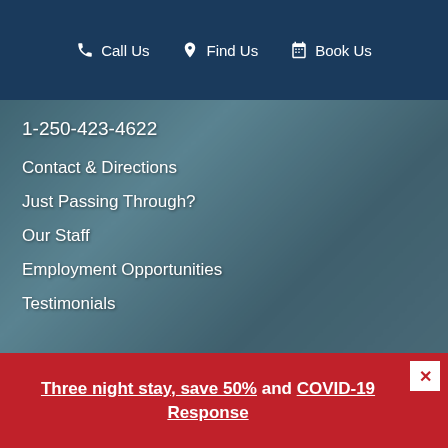Call Us  Find Us  Book Us
1-250-423-4622
Contact & Directions
Just Passing Through?
Our Staff
Employment Opportunities
Testimonials
Social Profiles
Three night stay, save 50% and COVID-19 Response